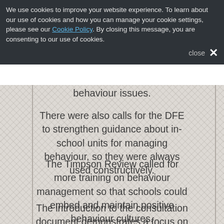We use cookies to improve your website experience. To learn about our use of cookies and how you can manage your cookie settings, please see our Cookie Policy. By closing this message, you are consenting to our use of cookies.
behaviour issues.
There were also calls for the DFE to strengthen guidance about in-school units for managing behaviour, so they were always used constructively.
The Timpson Review called for more training on behaviour management so that schools could embed and maintain positive behaviour cultures.
The introduction to the consultation document demonstrates a focus on ensuring that schools